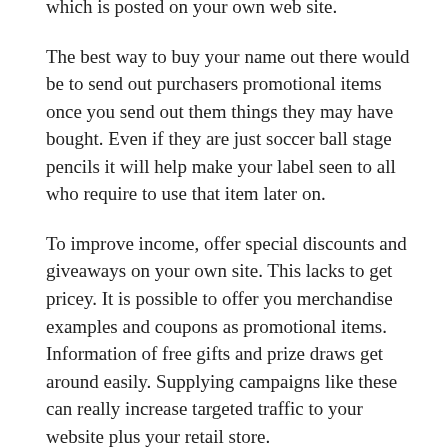blunders every once in a while but you are one that is in the end liable for any information which is posted on your own web site.
The best way to buy your name out there would be to send out purchasers promotional items once you send out them things they may have bought. Even if they are just soccer ball stage pencils it will help make your label seen to all who require to use that item later on.
To improve income, offer special discounts and giveaways on your own site. This lacks to get pricey. It is possible to offer you merchandise examples and coupons as promotional items. Information of free gifts and prize draws get around easily. Supplying campaigns like these can really increase targeted traffic to your website plus your retail store.